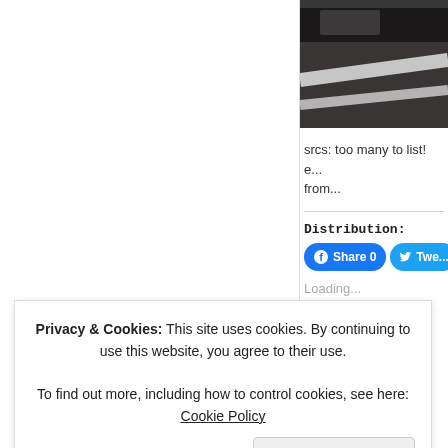[Figure (photo): Dark road/highway photograph showing asphalt with white lane markings, taken from an elevated angle, partially cropped at top-right of the page.]
srcs: too many to list! e... from...
Distribution:
Share 0
Twe...
Loading...
Privacy & Cookies: This site uses cookies. By continuing to use this website, you agree to their use.
To find out more, including how to control cookies, see here: Cookie Policy
Close and accept